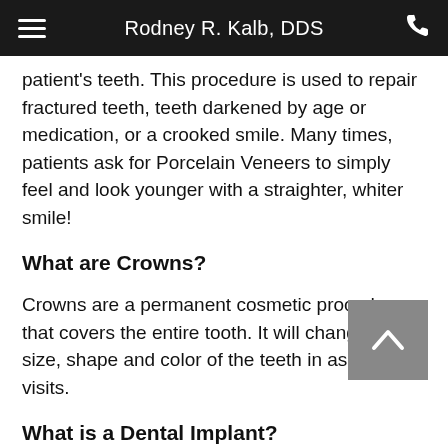Rodney R. Kalb, DDS
patient's teeth. This procedure is used to repair fractured teeth, teeth darkened by age or medication, or a crooked smile. Many times, patients ask for Porcelain Veneers to simply feel and look younger with a straighter, whiter smile!
What are Crowns?
Crowns are a permanent cosmetic procedure that covers the entire tooth. It will change the size, shape and color of the teeth in as few as 2 visits.
What is a Dental Implant?
A Dental Implant is a “man-made” replacement for a missing tooth or tooth root. Made from titanium, this screw-like object is inserted under the gum and directly into the upper